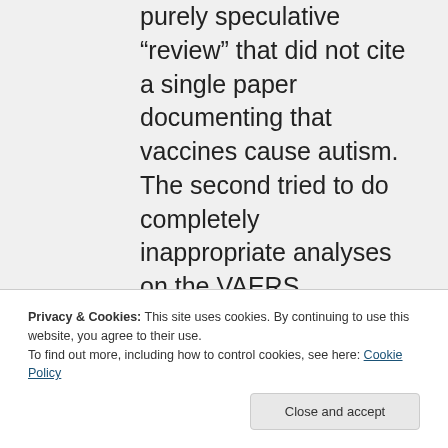purely speculative “review” that did not cite a single paper documenting that vaccines cause autism. The second tried to do completely inappropriate analyses on the VAERS database, and it concluded that thimerosal is causing the autism “increase” even though thimerosal was
Privacy & Cookies: This site uses cookies. By continuing to use this website, you agree to their use.
To find out more, including how to control cookies, see here: Cookie Policy